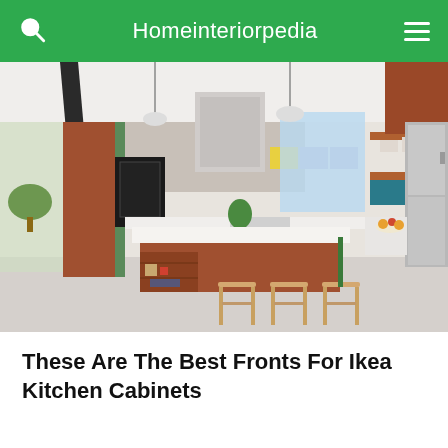Homeinteriorpedia
[Figure (photo): Modern kitchen interior with terracotta/brown wood cabinets, white countertops, open shelving with colorful cabinet fronts, kitchen island with bar stools, and stainless steel refrigerator]
These Are The Best Fronts For Ikea Kitchen Cabinets